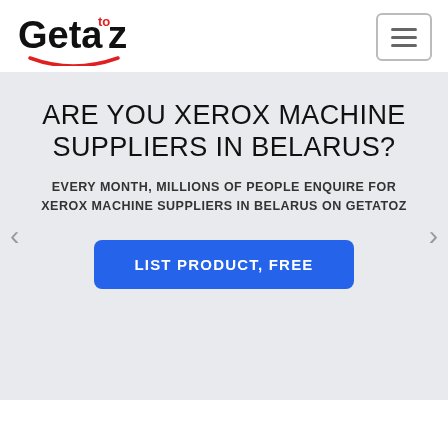[Figure (logo): Getatoz logo with stylized text 'Geta to z' and a red smile underline]
ARE YOU XEROX MACHINE SUPPLIERS IN BELARUS?
EVERY MONTH, MILLIONS OF PEOPLE ENQUIRE FOR XEROX MACHINE SUPPLIERS IN BELARUS ON GETATOZ
LIST PRODUCT, FREE